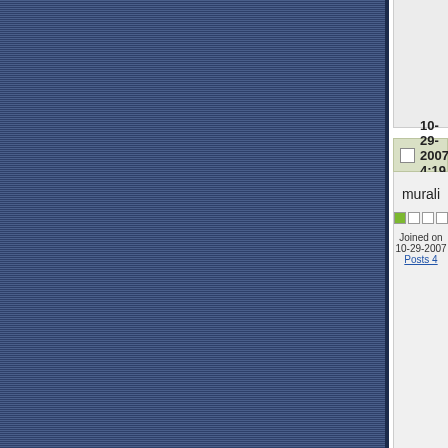10-29-2007, 4:19 AM
murali
Joined on 10-29-2007
Posts 4
Re: wa
hi friend

pabt is a answer

1, 15 qu

2, 60 qu

3, mach and legs

dear i de persons rcontact